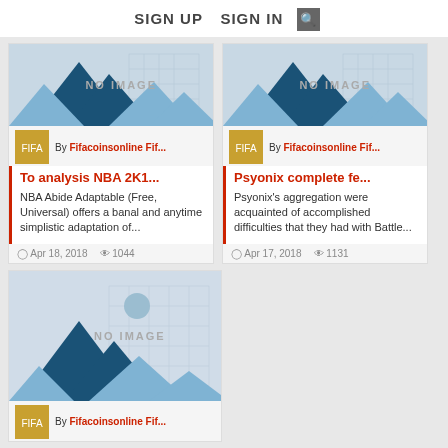SIGN UP  SIGN IN  🔍
[Figure (screenshot): Card: To analysis NBA 2K1... with placeholder image, author Fifacoinsonline Fif..., date Apr 18 2018, views 1044]
[Figure (screenshot): Card: Psyonix complete fe... with placeholder image, author Fifacoinsonline Fif..., date Apr 17 2018, views 1131]
[Figure (screenshot): Card bottom: partial card with placeholder image, author Fifacoinsonline Fif...]